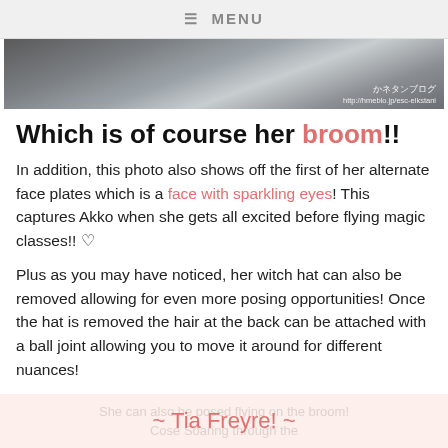≡ MENU
[Figure (photo): Close-up photo of a keyboard or desk surface with Japanese watermark text: かネタンブログ http://hmeblo.jp/esc-elkstani]
Which is of course her broom!!
In addition, this photo also shows off the first of her alternate face plates which is a face with sparkling eyes! This captures Akko when she gets all excited before flying magic classes!! ♡
Plus as you may have noticed, her witch hat can also be removed allowing for even more posing opportunities! Once the hat is removed the hair at the back can be attached with a ball joint allowing you to move it around for different nuances!
She can also be posed flying on the broom!
~ Tia Freyre! ~